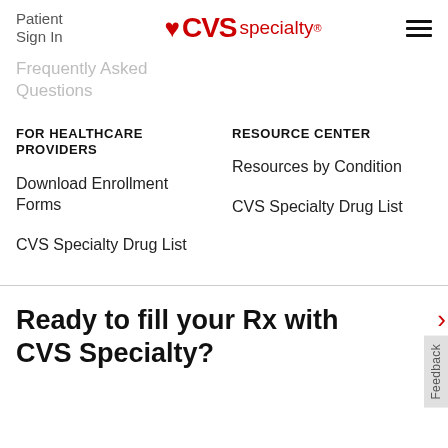Patient Sign In | CVS Specialty®
Frequently Asked Questions
FOR HEALTHCARE PROVIDERS
Download Enrollment Forms
CVS Specialty Drug List
RESOURCE CENTER
Resources by Condition
CVS Specialty Drug List
Ready to fill your Rx with CVS Specialty?